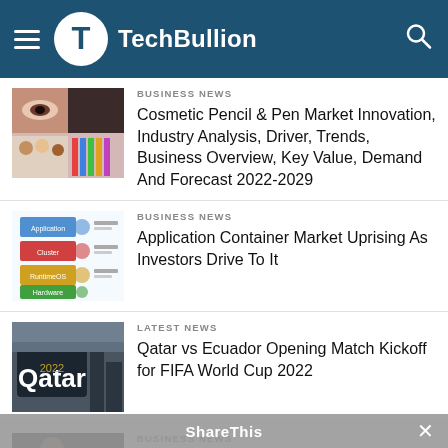TechBullion
BUSINESS NEWS
Cosmetic Pencil & Pen Market Innovation, Industry Analysis, Driver, Trends, Business Overview, Key Value, Demand And Forecast 2022-2029
BUSINESS NEWS
Application Container Market Uprising As Investors Drive To It
LATEST NEWS
Qatar vs Ecuador Opening Match Kickoff for FIFA World Cup 2022
BUSINESS NEWS
Heated Jacket Market Progressing at a stupendous CAGR of 17.6% During 2022
ShareThis